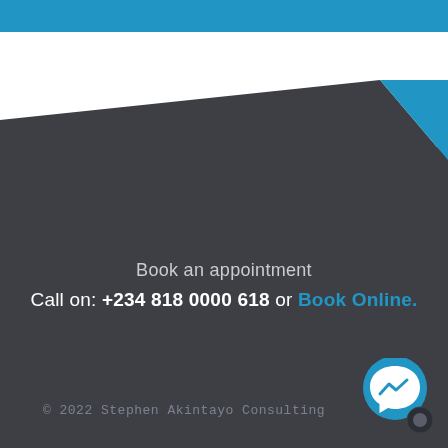[Figure (illustration): Decorative geometric background with blue top bar, white triangular shape, dark gray background, and blue triangular accent on the right side]
Book an appointment
Call on: +234 818 0000 618 or Book Online.
© 2022 Stephen Akintayo Consulting
[Figure (logo): Facebook Messenger circular icon in blue with lightning bolt symbol, with a smaller dark chat icon overlay]